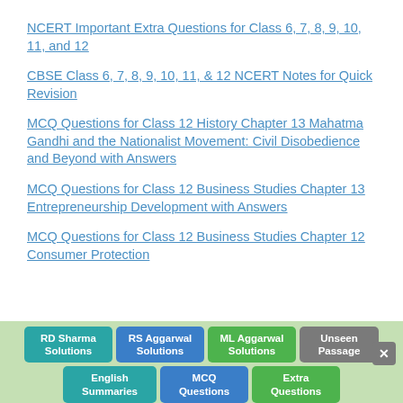NCERT Important Extra Questions for Class 6, 7, 8, 9, 10, 11, and 12
CBSE Class 6, 7, 8, 9, 10, 11, & 12 NCERT Notes for Quick Revision
MCQ Questions for Class 12 History Chapter 13 Mahatma Gandhi and the Nationalist Movement: Civil Disobedience and Beyond with Answers
MCQ Questions for Class 12 Business Studies Chapter 13 Entrepreneurship Development with Answers
MCQ Questions for Class 12 Business Studies Chapter 12 Consumer Protection
RD Sharma Solutions | RS Aggarwal Solutions | ML Aggarwal Solutions | Unseen Passage | English Summaries | MCQ Questions | Extra Questions